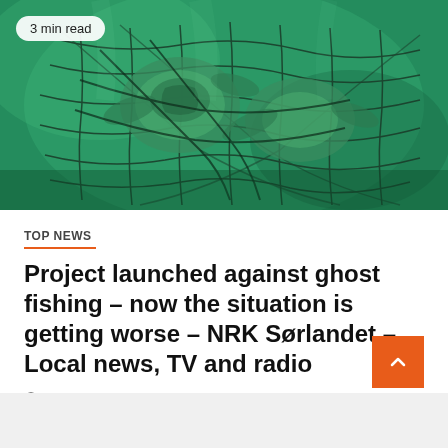[Figure (photo): Underwater photograph showing sea turtles or marine life caught in a fishing net, with a green tinted ocean environment. A badge in the top-left reads '3 min read'.]
TOP NEWS
Project launched against ghost fishing – now the situation is getting worse – NRK Sørlandet – Local news, TV and radio
August 29, 2022   Joshi Akinjide